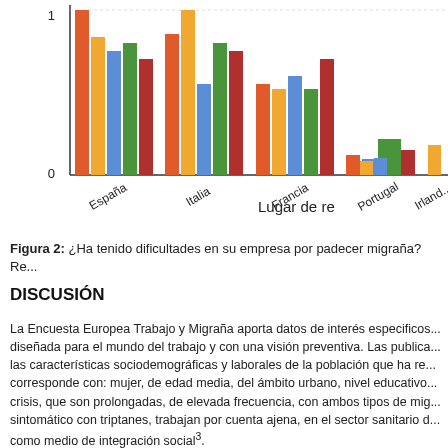[Figure (grouped-bar-chart): ¿Ha tenido dificultades en su empresa por padecer migraña?]
Figura 2:  ¿Ha tenido dificultades en su empresa por padecer migraña? Re...
DISCUSIÓN
La Encuesta Europea Trabajo y Migraña aporta datos de interés especificos... diseñada para el mundo del trabajo y con una visión preventiva. Las publica... las características sociodemográficas y laborales de la población que ha re... corresponde con: mujer, de edad media, del ámbito urbano, nivel educativo... crisis, que son prolongadas, de elevada frecuencia, con ambos tipos de mig... sintomático con triptanes, trabajan por cuenta ajena, en el sector sanitario d... como medio de integración social³.